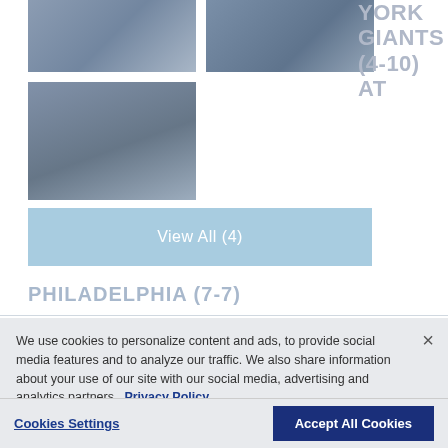[Figure (photo): Football game action photo top left - players on field]
[Figure (photo): Football player close-up photo top right - Eagles player]
[Figure (photo): Football player tackle photo bottom left - Giants player]
YORK GIANTS (4-10) at
View All (4)
PHILADELPHIA (7-7)
We use cookies to personalize content and ads, to provide social media features and to analyze our traffic. We also share information about your use of our site with our social media, advertising and analytics partners. Privacy Policy
Cookies Settings
Accept All Cookies